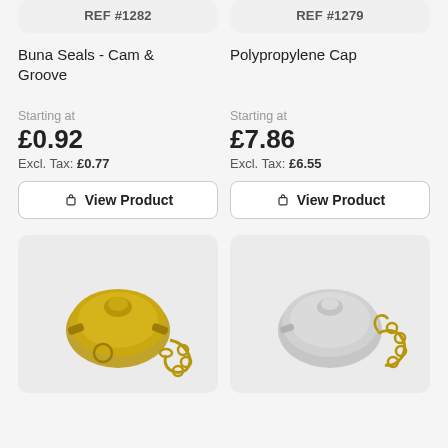REF #1282
REF #1279
Buna Seals - Cam & Groove
Polypropylene Cap
Starting at
£0.92
Excl. Tax: £0.77
Starting at
£7.86
Excl. Tax: £6.55
View Product
View Product
[Figure (photo): Gold/brass colored cam and groove cap fitting with chain, viewed from above at an angle]
[Figure (photo): Grey/white polypropylene cam and groove cap fitting with brass/gold chain, viewed from above at an angle]